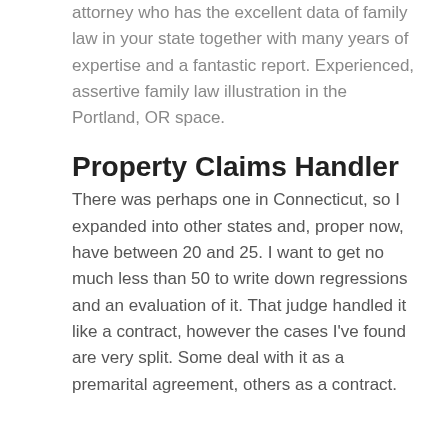attorney who has the excellent data of family law in your state together with many years of expertise and a fantastic report. Experienced, assertive family law illustration in the Portland, OR space.
Property Claims Handler
There was perhaps one in Connecticut, so I expanded into other states and, proper now, have between 20 and 25. I want to get no much less than 50 to write down regressions and an evaluation of it. That judge handled it like a contract, however the cases I've found are very split. Some deal with it as a premarital agreement, others as a contract.